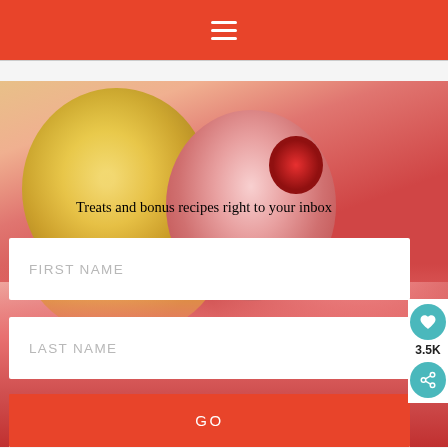Navigation menu (hamburger icon)
[Figure (photo): Close-up photo of colorful ice cream scoops with raspberries — yellow, pink, and red scoops with fresh raspberries on top]
Treats and bonus recipes right to your inbox
FIRST NAME
LAST NAME
E-MAIL ADDRESS
GO
3.5K